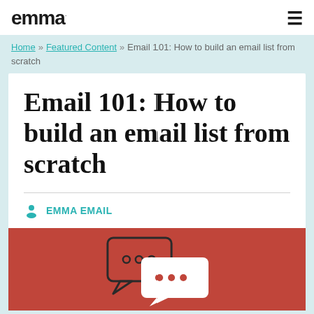emma
Home » Featured Content » Email 101: How to build an email list from scratch
Email 101: How to build an email list from scratch
EMMA EMAIL
[Figure (illustration): Two overlapping speech bubbles with ellipsis dots inside, on a red/coral background, representing email or messaging communication.]